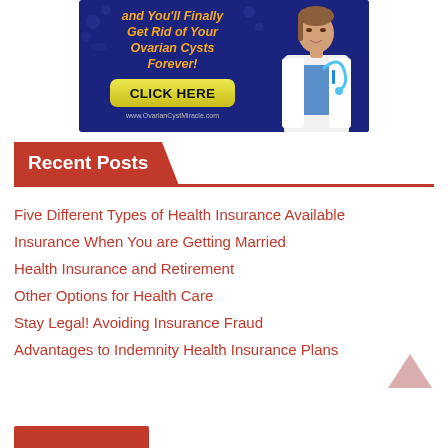[Figure (illustration): Advertisement banner with dark navy blue background showing a female doctor in white coat with stethoscope and text 'and You'll Finally Get Rid of Your Ovarian Cysts Forever!' in orange/gold italic font, a yellow 'CLICK HERE' button, and 'www.OvarianCystMiracle.com' URL.]
Recent Posts
Five Different Types of Health Insurance Available
Insurance When You are Getting Married
Health Insurance and Retirement
Other Options for Health Care
Stay Legal! Avoiding Insurance Fraud
Advantages to Indemnity Health Insurance Plans